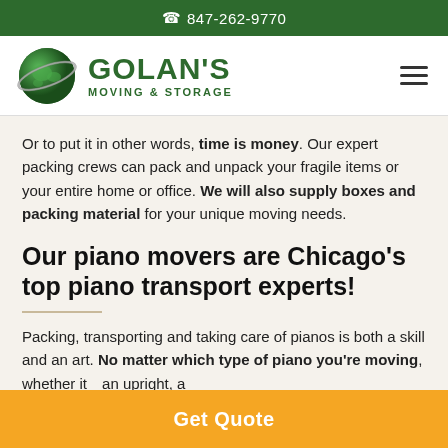847-262-9770
[Figure (logo): Golan's Moving & Storage logo with green globe and company name]
Or to put it in other words, time is money. Our expert packing crews can pack and unpack your fragile items or your entire home or office. We will also supply boxes and packing material for your unique moving needs.
Our piano movers are Chicago's top piano transport experts!
Packing, transporting and taking care of pianos is both a skill and an art. No matter which type of piano you're moving, whether it [is] an upright, a